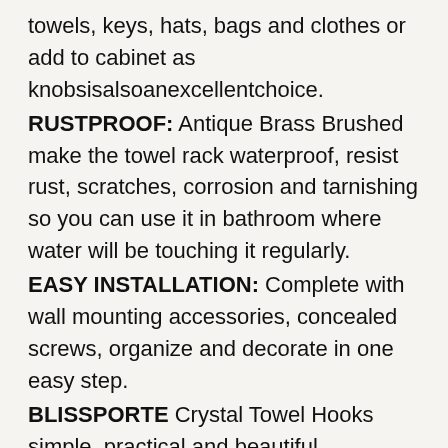towels, keys, hats, bags and clothes or add to cabinet as knobsisalsoanexcellentchoice.
RUSTPROOF: Antique Brass Brushed make the towel rack waterproof, resist rust, scratches, corrosion and tarnishing so you can use it in bathroom where water will be touching it regularly.
EASY INSTALLATION: Complete with wall mounting accessories, concealed screws, organize and decorate in one easy step.
BLISSPORTE Crystal Towel Hooks simple, practical and beautiful. Manufactured from Solid Brass makes this rack heavy duty and last a lifetime.
Antique Brass Finish protect against rust, scratches, corrosion and tarnishing.
It can be installed in kitchen, washroom, bathroom and garage to hang towels, rags, keys etc.